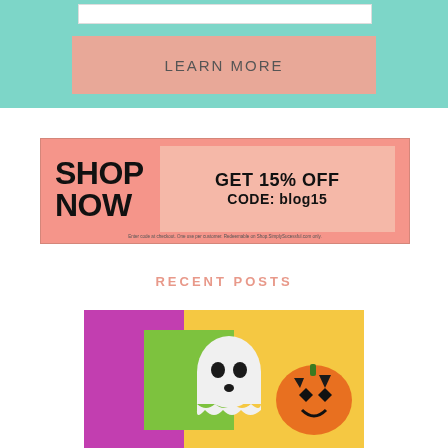[Figure (screenshot): Teal banner background with a white input box and a salmon/peach 'LEARN MORE' button]
LEARN MORE
[Figure (infographic): Salmon pink promotional banner with 'SHOP NOW' in large bold text on the left and 'GET 15% OFF CODE: blog15' on the right in a darker pink box, with fine print at the bottom]
RECENT POSTS
[Figure (photo): Halloween craft image showing paper ghost and jack-o-lantern decorations on colorful paper]